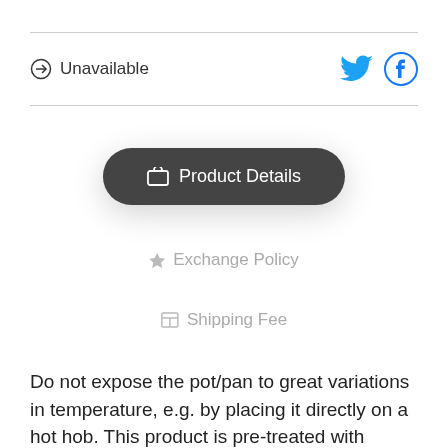⊙ Unavailable
Product Details
★ Exchange Policy
⊞ Shipping Fee
Do not expose the pot/pan to great variations in temperature, e.g. by placing it directly on a hot hob. This product is pre-treated with vegetable soybean oil. To season a cast iron pot/pan, rub all surfaces